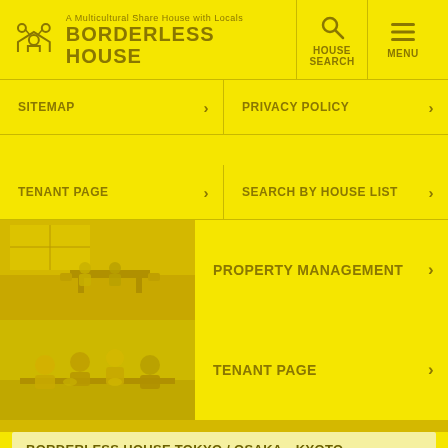A Multicultural Share House with Locals BORDERLESS HOUSE | HOUSE SEARCH | MENU
SITEMAP
PRIVACY POLICY
TENANT PAGE
SEARCH BY HOUSE LIST
[Figure (photo): Interior of a share house common room with tables and chairs]
PROPERTY MANAGEMENT
[Figure (photo): People sitting around a table in a share house, interacting]
TENANT PAGE
BORDERLESS HOUSE TOKYO / OSAKA・KYOTO・KOBE